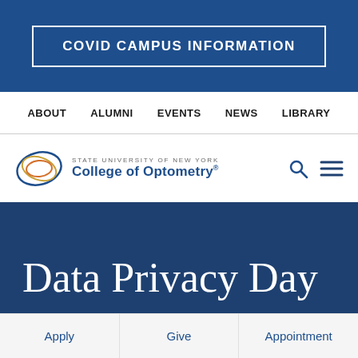COVID CAMPUS INFORMATION
ABOUT  ALUMNI  EVENTS  NEWS  LIBRARY
[Figure (logo): State University of New York College of Optometry logo with circular eye graphic in blue, orange and yellow, accompanied by text 'STATE UNIVERSITY OF NEW YORK COLLEGE OF OPTOMETRY']
Data Privacy Day
Apply  Give  Appointment